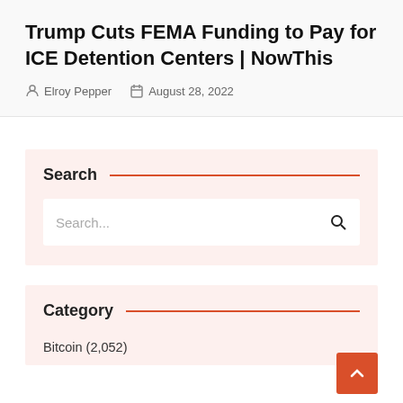Trump Cuts FEMA Funding to Pay for ICE Detention Centers | NowThis
Elroy Pepper  August 28, 2022
Search
Search...
Category
Bitcoin (2,052)